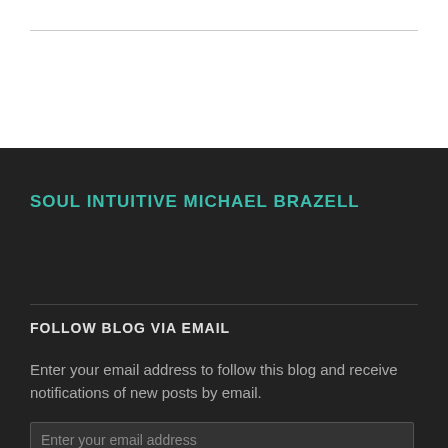SOUL INTUITIVE MICHAEL BRAZELL
FOLLOW BLOG VIA EMAIL
Enter your email address to follow this blog and receive notifications of new posts by email.
Enter your email address